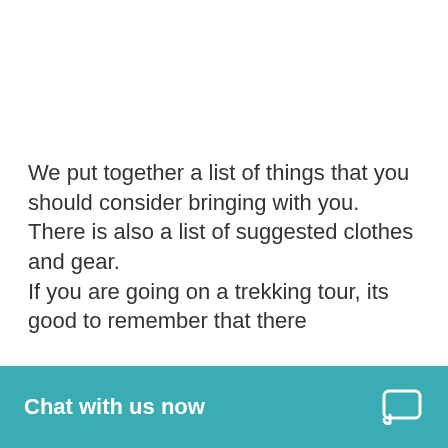We put together a list of things that you should consider bringing with you. There is also a list of suggested clothes and gear. If you are going on a trekking tour, its good to remember that there
[Figure (screenshot): Teal chat widget bar at the bottom of the page with text 'Chat with us now' and a speech bubble chat icon on the right.]